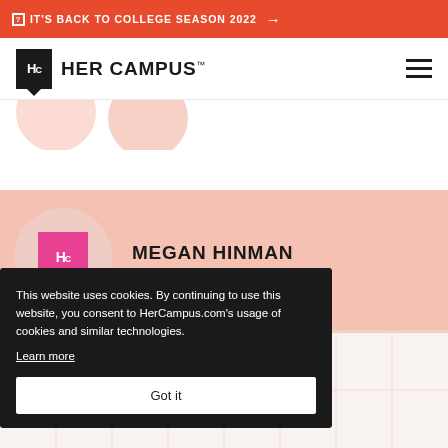IT'S BACK TO COLLEGE SEASON 2022 →
[Figure (logo): Her Campus logo with Hc box and text HER CAMPUS]
[Figure (screenshot): Partial pink circles partially visible at top of profile section]
[Figure (illustration): Salmon/peach background profile section with HerCampus pink logo avatar and name MEGAN HINMAN]
MEGAN HINMAN
This website uses cookies. By continuing to use this website, you consent to HerCampus.com's usage of cookies and similar technologies. Learn more
Got it